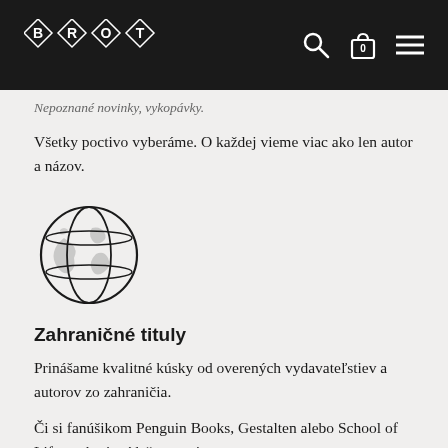BROT
Nepoznané novinky, vykopávky.
Všetky poctivo vyberáme. O každej vieme viac ako len autor a názov.
[Figure (illustration): Globe / earth icon, outline style, showing continents]
Zahraničné tituly
Prinášame kvalitné kúsky od overených vydavateľstiev a autorov zo zahraničia.
Či si fanúšikom Penguin Books, Gestalten alebo School of Life u nás si prídeš na svoje.